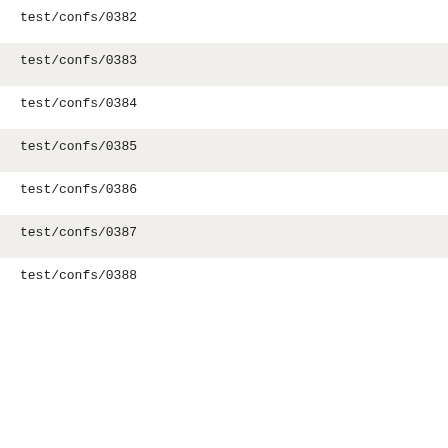test/confs/0382
test/confs/0383
test/confs/0384
test/confs/0385
test/confs/0386
test/confs/0387
test/confs/0388